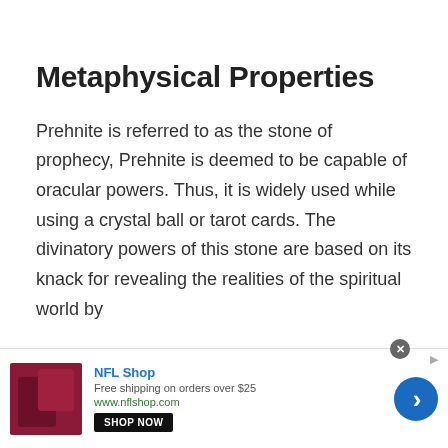Metaphysical Properties
Prehnite is referred to as the stone of prophecy, Prehnite is deemed to be capable of oracular powers. Thus, it is widely used while using a crystal ball or tarot cards. The divinatory powers of this stone are based on its knack for revealing the realities of the spiritual world by
[Figure (other): NFL Shop advertisement banner with shop logo image, text 'NFL Shop', 'Free shipping on orders over $25', 'www.nflshop.com', a 'SHOP NOW' button, a blue circular arrow button, and a close/dismiss icon.]